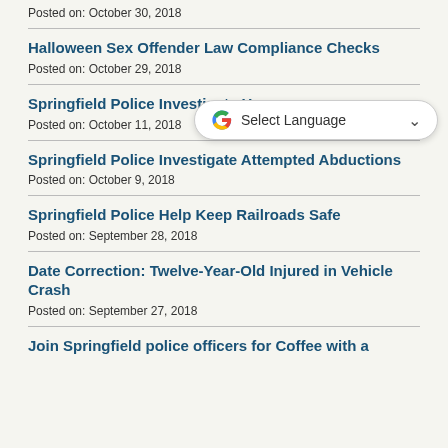Posted on: October 30, 2018
Halloween Sex Offender Law Compliance Checks
Posted on: October 29, 2018
Springfield Police Investigate Hom…
Posted on: October 11, 2018
Springfield Police Investigate Attempted Abductions
Posted on: October 9, 2018
Springfield Police Help Keep Railroads Safe
Posted on: September 28, 2018
Date Correction: Twelve-Year-Old Injured in Vehicle Crash
Posted on: September 27, 2018
Join Springfield police officers for Coffee with a